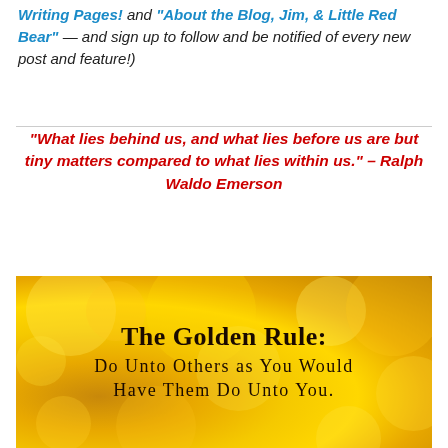"Writing Pages!" and "About the Blog, Jim, & Little Red Bear" — and sign up to follow and be notified of every new post and feature!)
"What lies behind us, and what lies before us are but tiny matters compared to what lies within us." – Ralph Waldo Emerson
[Figure (illustration): Gold bokeh background image with black serif text reading 'The Golden Rule: Do Unto Others as You Would Have Them Do Unto You.']